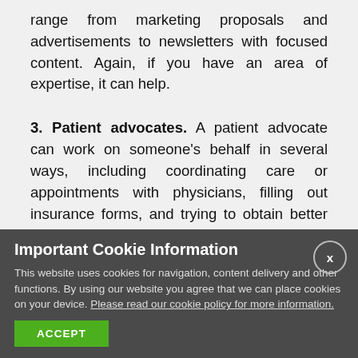range from marketing proposals and advertisements to newsletters with focused content. Again, if you have an area of expertise, it can help.
3. Patient advocates. A patient advocate can work on someone's behalf in several ways, including coordinating care or appointments with physicians, filling out insurance forms, and trying to obtain better rates on procedures that aren't covered by insurance. Some advocates work for individuals or families, while others may be
Important Cookie Information
This website uses cookies for navigation, content delivery and other functions. By using our website you agree that we can place cookies on your device. Please read our cookie policy for more information.
ACCEPT